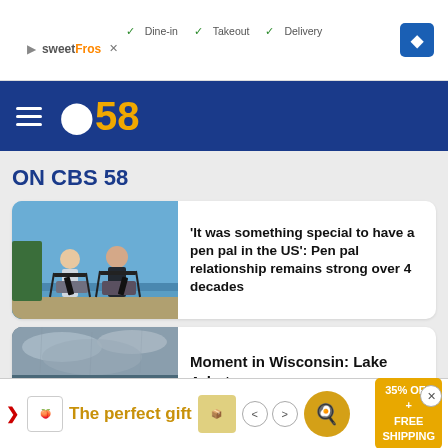[Figure (screenshot): Top advertisement banner showing sweetFrog branding with Dine-in, Takeout, Delivery checkmarks and a blue navigation arrow]
[Figure (logo): CBS 58 navigation header with hamburger menu, CBS eye logo, and '58' in orange on dark blue background]
ON CBS 58
[Figure (photo): Two people sitting in folding chairs outdoors near a waterfront on a sunny day]
'It was something special to have a pen pal in the US': Pen pal relationship remains strong over 4 decades
[Figure (photo): Landscape photo of a lake in Wisconsin with overcast skies]
Moment in Wisconsin: Lake Arbutus
[Figure (screenshot): Bottom advertisement: 'The perfect gift' with food imagery and '35% OFF + FREE SHIPPING' offer in gold/orange colors]